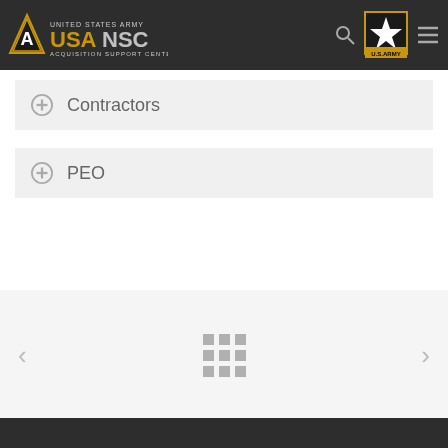United States Army USAASC Acquisition Support Center
Contractors
PEO
[Figure (screenshot): Carousel navigation area with left arrow, 3x3 grid of square dots, and right arrow on light gray background]